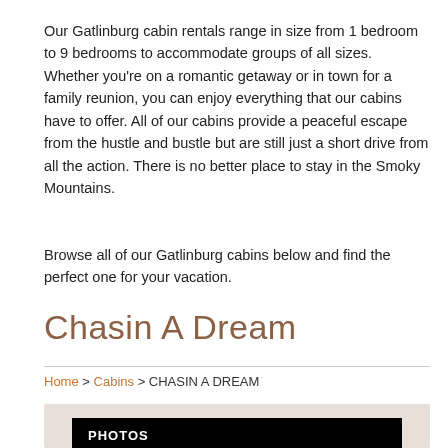Our Gatlinburg cabin rentals range in size from 1 bedroom to 9 bedrooms to accommodate groups of all sizes. Whether you're on a romantic getaway or in town for a family reunion, you can enjoy everything that our cabins have to offer. All of our cabins provide a peaceful escape from the hustle and bustle but are still just a short drive from all the action. There is no better place to stay in the Smoky Mountains.
Browse all of our Gatlinburg cabins below and find the perfect one for your vacation.
Chasin A Dream
Home > Cabins > CHASIN A DREAM
[Figure (other): Photo gallery area with dark background and PHOTOS label]